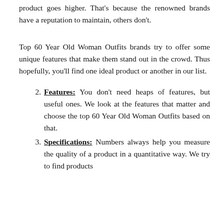product goes higher. That's because the renowned brands have a reputation to maintain, others don't.
Top 60 Year Old Woman Outfits brands try to offer some unique features that make them stand out in the crowd. Thus hopefully, you'll find one ideal product or another in our list.
2. Features: You don't need heaps of features, but useful ones. We look at the features that matter and choose the top 60 Year Old Woman Outfits based on that.
3. Specifications: Numbers always help you measure the quality of a product in a quantitative way. We try to find products